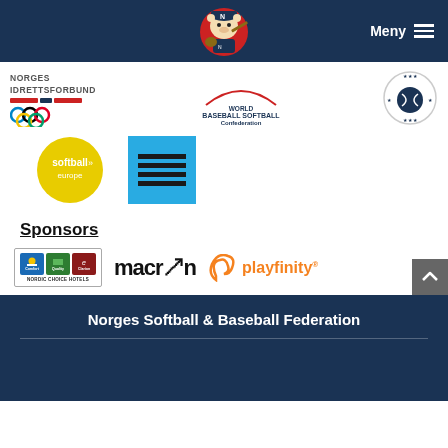[Figure (illustration): Dark navy header bar with a cartoon baseball bear mascot in the center and a Meny (menu) button with hamburger icon on the right]
[Figure (logo): Norges Idrettsforbund logo with Olympic rings, World Baseball Softball Confederation logo, and European baseball/softball confederation logo]
[Figure (logo): Softball Europe circular yellow logo and a light blue square logo with horizontal lines]
Sponsors
[Figure (logo): Sponsor logos: Nordic Choice Hotels (Comfort, Quality, Clarion), Macron, and Playfinity]
Norges Softball & Baseball Federation